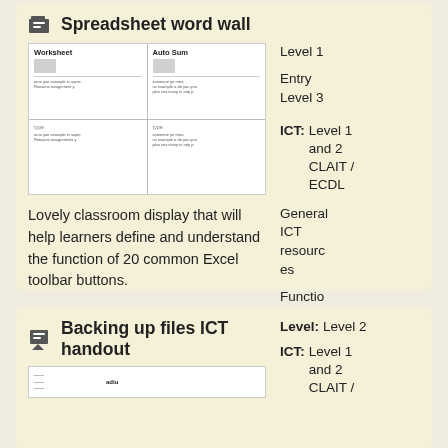Spreadsheet word wall
[Figure (illustration): Preview thumbnail of spreadsheet word wall showing 4 cells with Worksheet and Auto Sum labels and small icons]
Lovely classroom display that will help learners define and understand the function of 20 common Excel toolbar buttons.
Level 1
Entry Level 3
ICT: Level 1 and 2 CLAIT / ECDL
General ICT resources
Functional ICT
Backing up files ICT handout
Level: Level 2
ICT: Level 1 and 2 CLAIT /